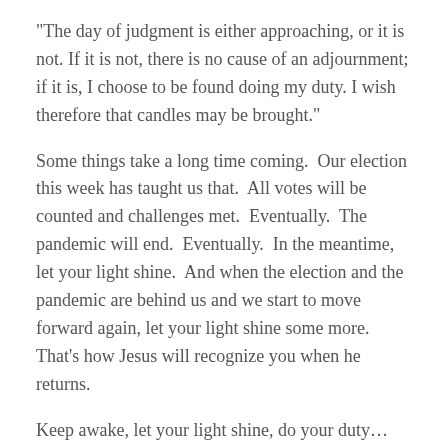“The day of judgment is either approaching, or it is not. If it is not, there is no cause of an adjournment; if it is, I choose to be found doing my duty. I wish therefore that candles may be brought.”
Some things take a long time coming.  Our election this week has taught us that.  All votes will be counted and challenges met.  Eventually.  The pandemic will end.  Eventually.  In the meantime, let your light shine.  And when the election and the pandemic are behind us and we start to move forward again, let your light shine some more.  That’s how Jesus will recognize you when he returns.
Keep awake, let your light shine, do your duty… and when necessary, try wait.
(Note:  There is still a Bubba’s Burgers in Kana’a.  Worth